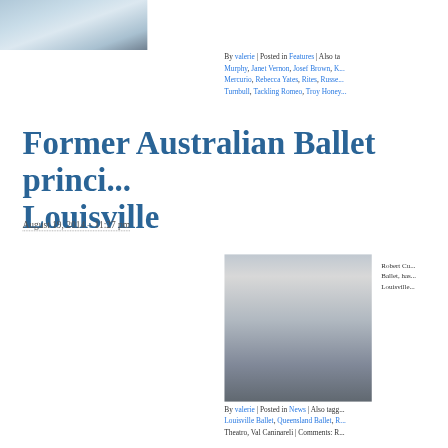[Figure (photo): Partial photo visible at top, person in light blue clothing, cropped]
By valerie | Posted in Features | Also ta... Murphy, Janet Vernon, Josef Brown, K... Mercurio, Rebecca Yates, Rites, Russe... Turnbull, Tackling Romeo, Troy Honey...
Former Australian Ballet princi... Louisville
August 19, 2014 – 11:27 pm
[Figure (photo): Ballet dancer Robert Cu... seated on stool wearing black tank top and black pants, professional studio photo]
Robert Cu... Ballet, has... Louisville...
By valerie | Posted in News | Also tagg... Louisville Ballet, Queensland Ballet, R... Theatro, Val Caninareli | Comments: R...